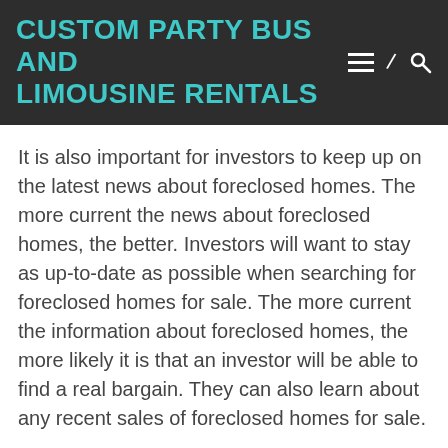CUSTOM PARTY BUS AND LIMOUSINE RENTALS
It is also important for investors to keep up on the latest news about foreclosed homes. The more current the news about foreclosed homes, the better. Investors will want to stay as up-to-date as possible when searching for foreclosed homes for sale. The more current the information about foreclosed homes, the more likely it is that an investor will be able to find a real bargain. They can also learn about any recent sales of foreclosed homes for sale.
5 Benefits of Concrete